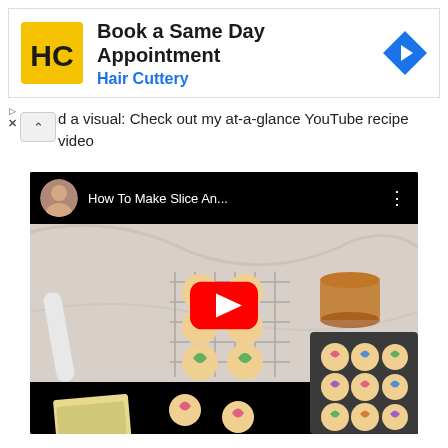[Figure (screenshot): Hair Cuttery ad banner with logo, headline 'Book a Same Day Appointment', subtext 'Hair Cuttery', and a blue navigation arrow icon on the right]
d a visual: Check out my at-a-glance YouTube recipe video
[Figure (screenshot): YouTube video thumbnail showing colorful heart-shaped slice-and-bake cookies on a cooling rack with a play button overlay. Video title reads 'How To Make Slice An...']